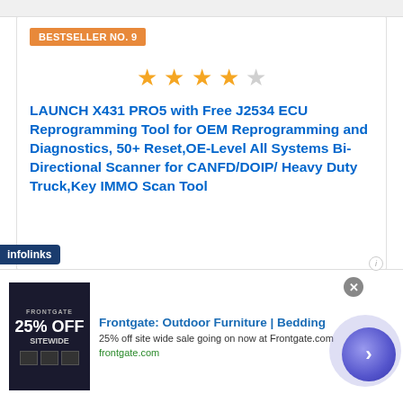BESTSELLER NO. 9
[Figure (other): 4 out of 5 stars rating shown with 4 filled gold stars and 1 empty star]
LAUNCH X431 PRO5 with Free J2534 ECU Reprogramming Tool for OEM Reprogramming and Diagnostics, 50+ Reset,OE-Level All Systems Bi-Directional Scanner for CANFD/DOIP/ Heavy Duty Truck,Key IMMO Scan Tool
Featured with a brand-new upgrade system, X-431 PRO5 is newly designed for All Makes,
[Figure (other): Advertisement banner: Frontgate Outdoor Furniture | Bedding — 25% off site wide sale going on now at Frontgate.com, with product image showing 25% OFF SITEWIDE text on dark background]